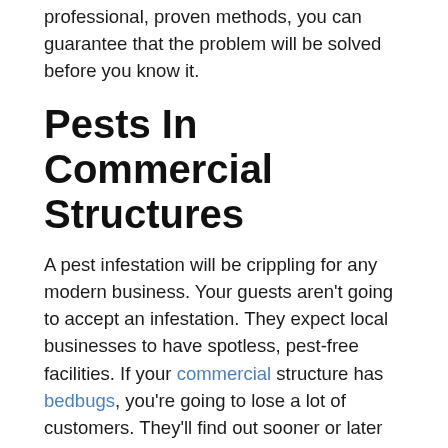professional, proven methods, you can guarantee that the problem will be solved before you know it.
Pests In Commercial Structures
A pest infestation will be crippling for any modern business. Your guests aren't going to accept an infestation. They expect local businesses to have spotless, pest-free facilities. If your commercial structure has bedbugs, you're going to lose a lot of customers. They'll find out sooner or later and you'll regret not fixing the problem. Once your guests find out, you're going to receive a lot of criticism and your guests will go elsewhere. Whether you run a gym, bookstore, convenience store, or restaurant, you need to maintain a clean facility that is free of pests. Doing so can help reduce the likelihood that your guests are going to